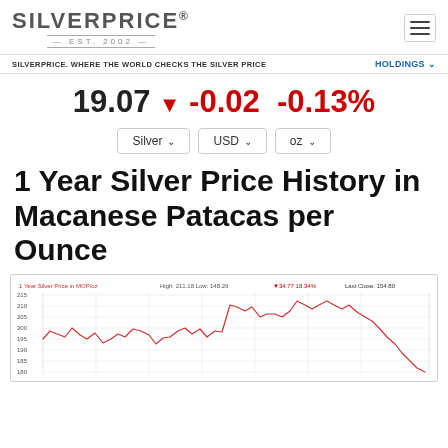SILVERPRICE® EST. 2002
SILVERPRICE. WHERE THE WORLD CHECKS THE SILVER PRICE    HOLDINGS
19.07 ▼ -0.02 -0.13%
Silver ∨   USD ∨   oz ∨
1 Year Silver Price History in Macanese Patacas per Ounce
[Figure (continuous-plot): 1 Year Silver Price in MOP/oz line chart. High: 211.18 Low: 148.29 ▼34.77 18.34%. Last Close: 154.80. Y-axis shows values from 180 to 215. Red line chart showing silver price fluctuations over 1 year in Macanese Patacas per ounce.]